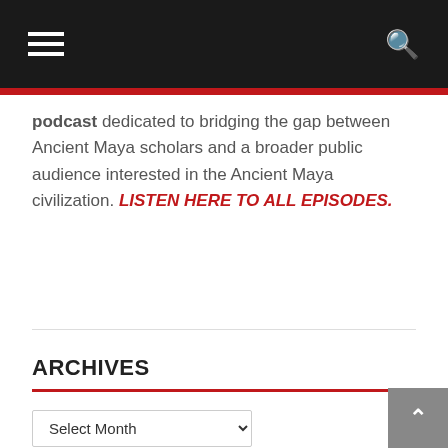Navigation header with hamburger menu and search icon
podcast dedicated to bridging the gap between Ancient Maya scholars and a broader public audience interested in the Ancient Maya civilization. LISTEN HERE TO ALL EPISODES.
ARCHIVES
THE BULLETIN SPORTS REPORT